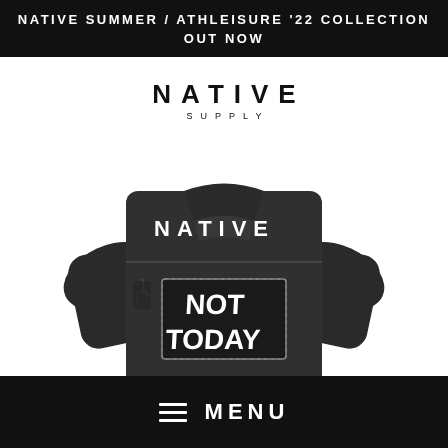NATIVE SUMMER / ATHLEISURE '22 COLLECTION OUT NOW
NATIVE SUPPLY
[Figure (photo): Back view of a dark distressed denim jacket with 'NATIVE' printed in white across the upper back and a patch reading 'NOT TODAY' in large bold text on the lower back.]
≡ MENU